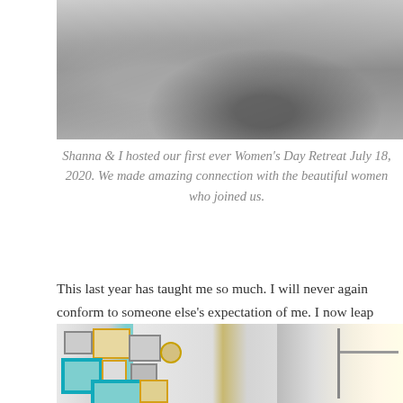[Figure (photo): Black and white photo showing a person lying on a textured carpet/rug, partial body view with a bracelet visible on wrist, holding what appears to a dark object.]
Shanna & I hosted our first ever Women's Day Retreat July 18, 2020. We made amazing connection with the beautiful women who joined us.
This last year has taught me so much. I will never again conform to someone else's expectation of me. I now leap where I use to step back. I no longer put my worth into other people's opinions. I also can see people coming at me in a different light. I'm not in defense mode anymore. I just simply don't engage. I don't put my energy into anything not meant for me.
[Figure (photo): Color photo of an interior wall decorated with a gallery of framed photos and artwork. Frames are various colors including teal/turquoise and yellow. Right side shows a window with bright light coming through.]